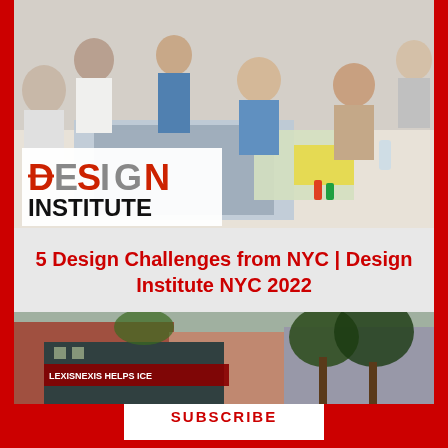[Figure (photo): Group of professionals gathered around a table reviewing architectural or design drawings and blueprints; business setting with overhead lighting]
[Figure (logo): Design Institute logo with 'DESIGN' in red and gray mixed letters and 'INSTITUTE' in black bold below]
5 Design Challenges from NYC | Design Institute NYC 2022
[Figure (photo): Street-level photo of urban buildings with a protest banner reading 'LEXISNEXIS HELPS ICE' on a dark building facade, trees and brick buildings visible]
This coverage is free for all visitors. Your support makes this possible.
SUBSCRIBE